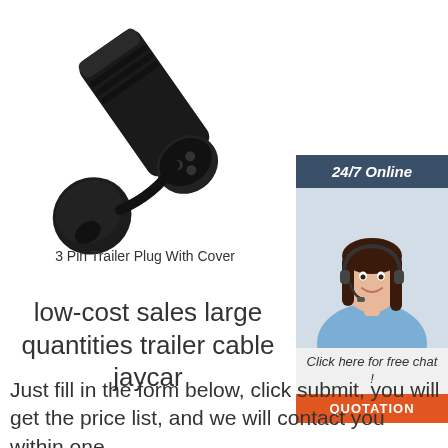[Figure (photo): Black 3 pin trailer plug with cover, shown on white background, angled view showing plug connector and protective cap]
[Figure (infographic): Sidebar with '24/7 Online' header in dark teal/navy, photo of smiling female customer service agent wearing headset, 'Click here for free chat!' text, and orange QUOTATION button]
3 Pin Trailer Plug With Cover
low-cost sales large quantities trailer cable jaycar
Just fill in the form below, click submit, you will get the price list, and we will contact you within one